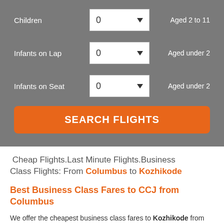Children — 0 — Aged 2 to 11
Infants on Lap — 0 — Aged under 2
Infants on Seat — 0 — Aged under 2
SEARCH FLIGHTS
Cheap Flights.Last Minute Flights.Business Class Flights: From Columbus to Kozhikode
Best Business Class Fares to CCJ from Columbus
We offer the cheapest business class fares to Kozhikode from Columbus. Choose from our plethora of business class fares to CCJ on Indian Eagle.